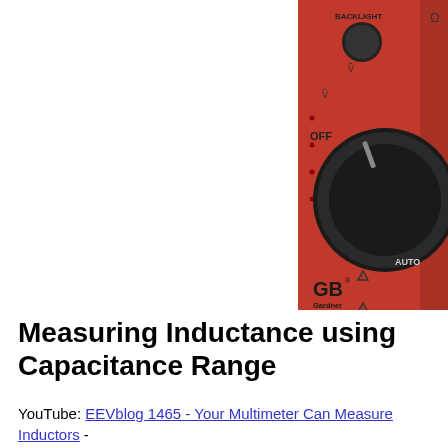[Figure (photo): Red Gardner Bender GDT-3200 Auto Digital Multimeter, showing the dial/knob area with OFF position and various measurement settings. The multimeter is red with a large black rotary dial.]
Measuring Inductance using Capacitance Range
YouTube: EEVblog 1465 - Your Multimeter Can Measure Inductors -